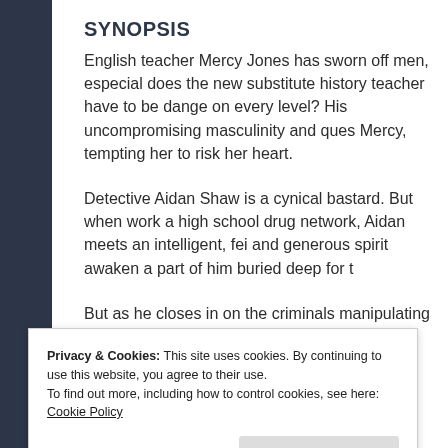SYNOPSIS
English teacher Mercy Jones has sworn off men, especially does the new substitute history teacher have to be dangerous on every level? His uncompromising masculinity and ques Mercy, tempting her to risk her heart.
Detective Aidan Shaw is a cynical bastard. But when work a high school drug network, Aidan meets an intelligent, fei and generous spirit awaken a part of him buried deep for t
But as he closes in on the criminals manipulating innocen ever higher.
Privacy & Cookies: This site uses cookies. By continuing to use this website, you agree to their use.
To find out more, including how to control cookies, see here: Cookie Policy